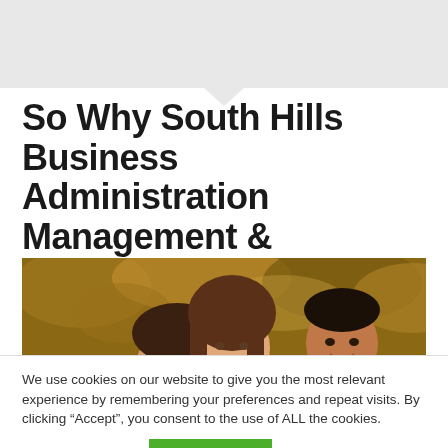[Figure (illustration): Gray speech bubble / tooltip background area at the top of the page with a downward-pointing notch]
So Why South Hills Business Administration Management & Marketing?
[Figure (photo): Photo of smiling students outdoors against an autumn-colored tree background. Two visible faces: a young woman with long brown hair in the center and a young man on the right.]
We use cookies on our website to give you the most relevant experience by remembering your preferences and repeat visits. By clicking “Accept”, you consent to the use of ALL the cookies.
Cookie settings
ACCEPT